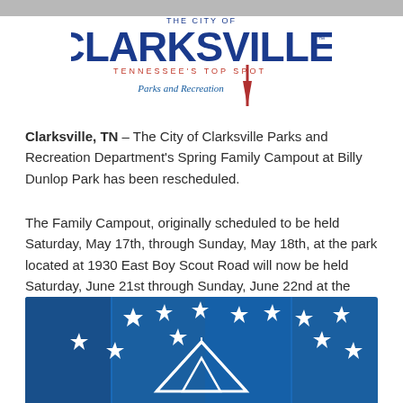[Figure (logo): City of Clarksville, Tennessee's Top Spot, Parks and Recreation logo with stylized text and needle/spike graphic]
Clarksville, TN – The City of Clarksville Parks and Recreation Department's Spring Family Campout at Billy Dunlop Park has been rescheduled.
The Family Campout, originally scheduled to be held Saturday, May 17th, through Sunday, May 18th, at the park located at 1930 East Boy Scout Road will now be held Saturday, June 21st through Sunday, June 22nd at the same location.
[Figure (illustration): Blue background illustration with white stars and a white tent outline, representing the Family Campout event]